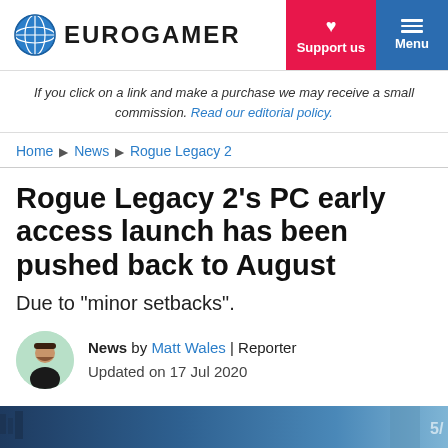EUROGAMER | Support us | Menu
If you click on a link and make a purchase we may receive a small commission. Read our editorial policy.
Home ▶ News ▶ Rogue Legacy 2
Rogue Legacy 2's PC early access launch has been pushed back to August
Due to "minor setbacks".
News by Matt Wales | Reporter
Updated on 17 Jul 2020
[Figure (photo): Screenshot from Rogue Legacy 2 game, partially visible at the bottom of the page]